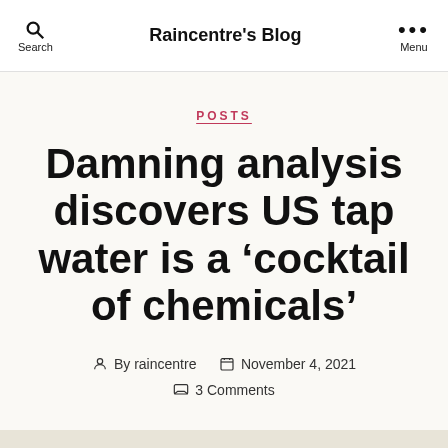Raincentre's Blog
POSTS
Damning analysis discovers US tap water is a ‘cocktail of chemicals’
By raincentre   November 4, 2021   3 Comments